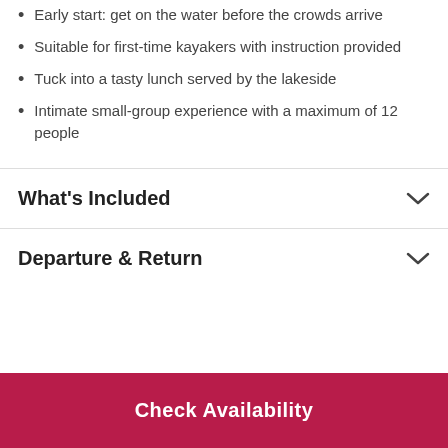Early start: get on the water before the crowds arrive
Suitable for first-time kayakers with instruction provided
Tuck into a tasty lunch served by the lakeside
Intimate small-group experience with a maximum of 12 people
What's Included
Departure & Return
Check Availability